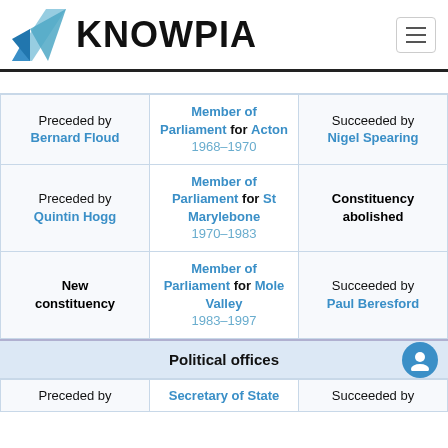KNOWPIA
| Preceded by | Role | Succeeded by |
| --- | --- | --- |
| Preceded by
Bernard Floud | Member of Parliament for Acton
1968–1970 | Succeeded by
Nigel Spearing |
| Preceded by
Quintin Hogg | Member of Parliament for St Marylebone
1970–1983 | Constituency abolished |
| New constituency | Member of Parliament for Mole Valley
1983–1997 | Succeeded by
Paul Beresford |
Political offices
| Preceded by | Role | Succeeded by |
| --- | --- | --- |
| Preceded by | Secretary of State | Succeeded by |